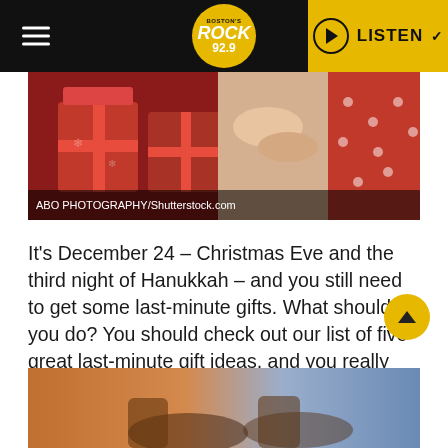Rock 92.9 — LISTEN
[Figure (photo): Christmas gifts with red ribbons and wrapping paper, hands wrapping a present. Photo credit: ABO PHOTOGRAPHY/Shutterstock.com]
ABO PHOTOGRAPHY/Shutterstock.com
It's December 24 – Christmas Eve and the third night of Hanukkah – and you still need to get some last-minute gifts. What should you do? You should check out our list of five great last-minute gift ideas, and you really should get to steppin'. You seriously don't have a lot of time left to shop!
[Figure (photo): Partial bottom image, warm orange tones, appears to show a person's lower body or shoes.]